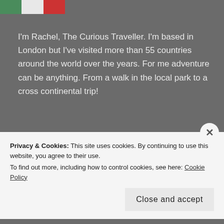[Figure (illustration): Partial view of Italian flag (green, white, red stripes) at top left corner]
I'm Rachel, The Curious Traveller. I'm based in London but I've visited more than 55 countries around the world over the years. For me adventure can be anything. From a walk in the local park to a cross continental trip!
Top Posts & Pages
Pleasure: Travel To A Happy Place
A Few Of My Favourite Italian Moments In Photos
Close Encounters With Australian Wildlife
Privacy & Cookies: This site uses cookies. By continuing to use this website, you agree to their use.
To find out more, including how to control cookies, see here: Cookie Policy
Close and accept